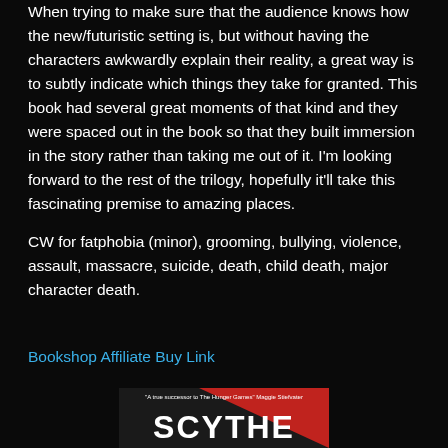When trying to make sure that the audience knows how the new/futuristic setting is, but without having the characters awkwardly explain their reality, a great way is to subtly indicate which things they take for granted. This book had several great moments of that kind and they were spaced out in the book so that they built immersion in the story rather than taking me out of it. I'm looking forward to the rest of the trilogy, hopefully it'll take this fascinating premise to amazing places.
CW for fatphobia (minor), grooming, bullying, violence, assault, massacre, suicide, death, child death, major character death.
Bookshop Affiliate Buy Link
[Figure (photo): Book cover of Scythe with red and dark background, quote reading 'A true successor to The Hunger Games' - Maggie Stiefvater, and large text SCYTHE]